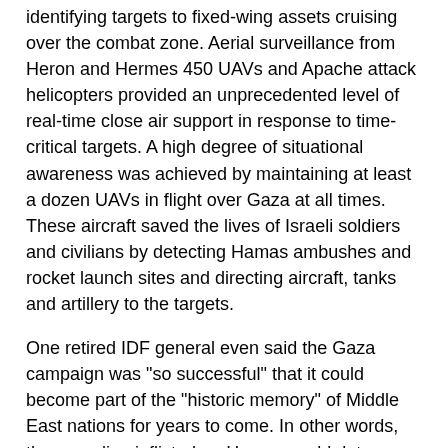identifying targets to fixed-wing assets cruising over the combat zone. Aerial surveillance from Heron and Hermes 450 UAVs and Apache attack helicopters provided an unprecedented level of real-time close air support in response to time-critical targets. A high degree of situational awareness was achieved by maintaining at least a dozen UAVs in flight over Gaza at all times. These aircraft saved the lives of Israeli soldiers and civilians by detecting Hamas ambushes and rocket launch sites and directing aircraft, tanks and artillery to the targets.
One retired IDF general even said the Gaza campaign was "so successful" that it could become part of the "historic memory" of Middle East nations for years to come. In other words, the pounding inflicted on Hamas could deter other hostile powers (like Iran) and terrorist organizations (read Hizballah) from provoking Israel.
That may be a stretch, but a few things are readily apparent. First, the IDF took a hard look at its failed effort to "destroy" Hizballah in 2006, and incorporated necessary changes in hardware and tactics. Obviously, Gaza was a much different operation than the Lebanon campaign, but the integration of air and ground power was much more successful, and